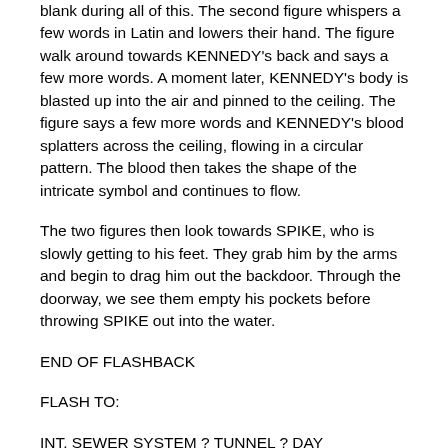blank during all of this. The second figure whispers a few words in Latin and lowers their hand. The figure walk around towards KENNEDY's back and says a few more words. A moment later, KENNEDY's body is blasted up into the air and pinned to the ceiling. The figure says a few more words and KENNEDY's blood splatters across the ceiling, flowing in a circular pattern. The blood then takes the shape of the intricate symbol and continues to flow.
The two figures then look towards SPIKE, who is slowly getting to his feet. They grab him by the arms and begin to drag him out the backdoor. Through the doorway, we see them empty his pockets before throwing SPIKE out into the water.
END OF FLASHBACK
FLASH TO:
INT. SEWER SYSTEM ? TUNNEL ? DAY
SPIKE gets to his feet and limps down the tunnel and deeper into the darkness.
CUT TO:
INT. WATCHER'S COUNCIL ? LIBRARY ? DAY